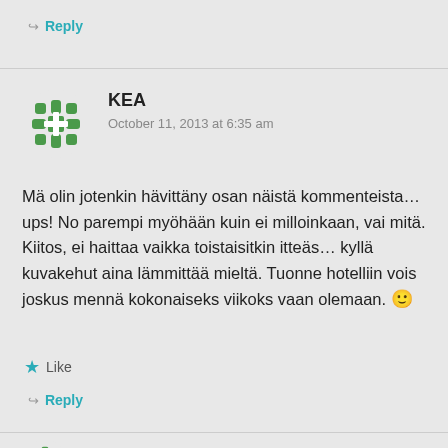↪ Reply
[Figure (illustration): Green decorative avatar icon with snowflake/cross pattern for user KEA]
KEA
October 11, 2013 at 6:35 am
Mä olin jotenkin hävittäny osan näistä kommenteista… ups! No parempi myöhään kuin ei milloinkaan, vai mitä. Kiitos, ei haittaa vaikka toistaisitkin itteäs… kyllä kuvakehut aina lämmittää mieltä. Tuonne hotelliin vois joskus mennä kokonaiseks viikoks vaan olemaan. 🙂
★ Like
↪ Reply
[Figure (illustration): Partial green decorative avatar icon at bottom of page]